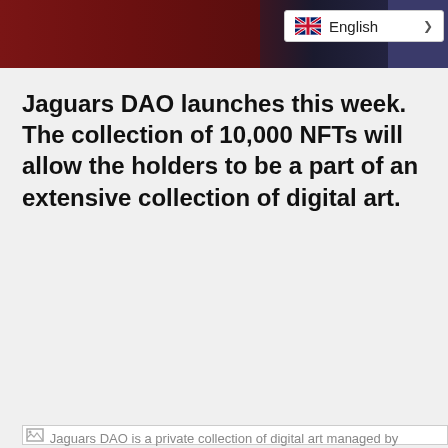[Figure (screenshot): Website header showing dark red and dark blue background with character artwork and an English language selector dropdown in top right]
Jaguars DAO launches this week. The collection of 10,000 NFTs will allow the holders to be a part of an extensive collection of digital art.
[Figure (photo): Broken image placeholder for a photo related to Jaguars DAO]
Jaguars DAO is a private collection of digital art managed by